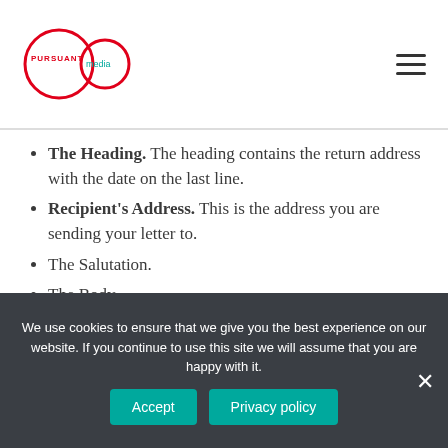Pursuant Media logo and navigation menu
The Heading. The heading contains the return address with the date on the last line.
Recipient's Address. This is the address you are sending your letter to.
The Salutation.
The Body.
The Complimentary Close.
The Signature Line.
Enclosures.
We use cookies to ensure that we give you the best experience on our website. If you continue to use this site we will assume that you are happy with it.